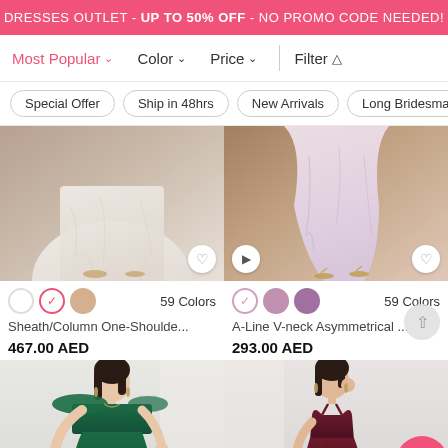DRESSES OUTLET - UP TO 50% OFF - NO PROMO CODE NEEDED!
Most Popular  Color  Price  Filter
Special Offer
Ship in 48hrs
New Arrivals
Long Bridesmaid Dre...
[Figure (photo): Bottom of white chiffon dress with beige background, 59 colors swatches]
Sheath/Column One-Shoulde...
467.00 AED
[Figure (photo): Bottom of pink/lavender bridesmaid dress with video icon, 59 colors swatches]
A-Line V-neck Asymmetrical ...
293.00 AED
[Figure (photo): Model in dark green off-shoulder dress]
[Figure (photo): Model in wine/burgundy spaghetti strap dress]